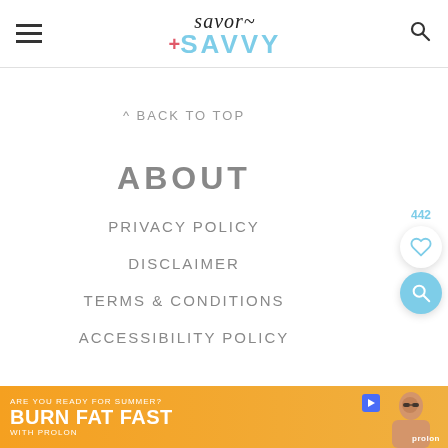Savor + SAVVY
^ BACK TO TOP
ABOUT
PRIVACY POLICY
DISCLAIMER
TERMS & CONDITIONS
ACCESSIBILITY POLICY
[Figure (infographic): Advertisement banner: orange background with text 'ARE YOU READY FOR SUMMER? BURN FAT FAST WITH PROLON' and image of woman with sunglasses. Prolon brand logo visible.]